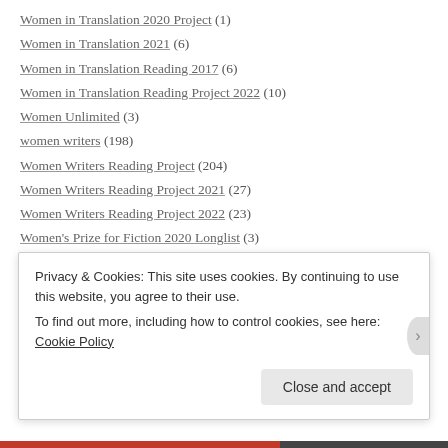Women in Translation 2020 Project (1)
Women in Translation 2021 (6)
Women in Translation Reading 2017 (6)
Women in Translation Reading Project 2022 (10)
Women Unlimited (3)
women writers (198)
Women Writers Reading Project (204)
Women Writers Reading Project 2021 (27)
Women Writers Reading Project 2022 (23)
Women's Prize for Fiction 2020 Longlist (3)
Words (1)
Workman Publishing Company (1)
World Literature (14)
Privacy & Cookies: This site uses cookies. By continuing to use this website, you agree to their use. To find out more, including how to control cookies, see here: Cookie Policy
Close and accept